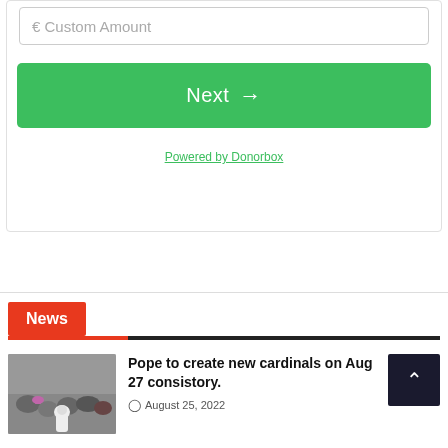€ Custom Amount
Next →
Powered by Donorbox
News
Pope to create new cardinals on A… 27 consistory.
August 25, 2022